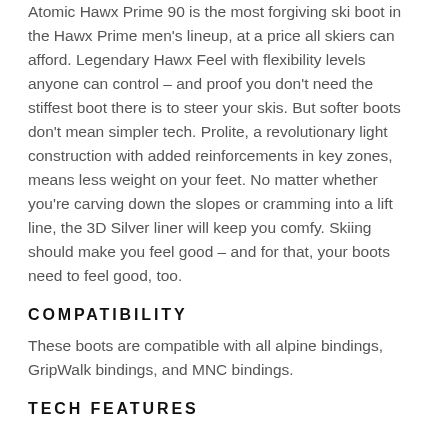Atomic Hawx Prime 90 is the most forgiving ski boot in the Hawx Prime men's lineup, at a price all skiers can afford. Legendary Hawx Feel with flexibility levels anyone can control – and proof you don't need the stiffest boot there is to steer your skis. But softer boots don't mean simpler tech. Prolite, a revolutionary light construction with added reinforcements in key zones, means less weight on your feet. No matter whether you're carving down the slopes or cramming into a lift line, the 3D Silver liner will keep you comfy. Skiing should make you feel good – and for that, your boots need to feel good, too.
COMPATIBILITY
These boots are compatible with all alpine bindings, GripWalk bindings, and MNC bindings.
TECH FEATURES